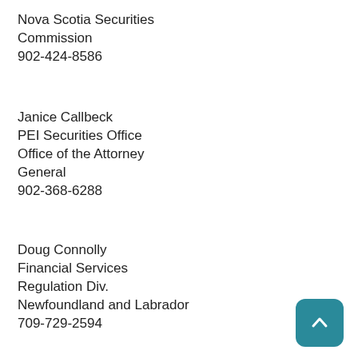Nova Scotia Securities Commission
902-424-8586
Janice Callbeck
PEI Securities Office
Office of the Attorney General
902-368-6288
Doug Connolly
Financial Services Regulation Div.
Newfoundland and Labrador
709-729-2594